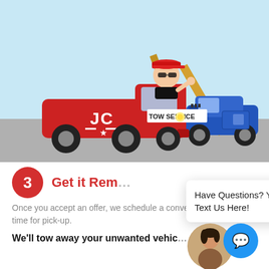[Figure (illustration): Cartoon illustration of a red JC Tow Service truck towing a blue broken-down car. The driver wears a red cap and sunglasses. The truck has 'JC TOW SERVICE' written on it with a star emblem. Background is light blue sky with grey road.]
3
Get it Rem
Once you accept an offer, we schedule a convenient date and time for pick-up.
We'll tow away your unwanted vehicles
Have Questions? You Can Text Us Here!